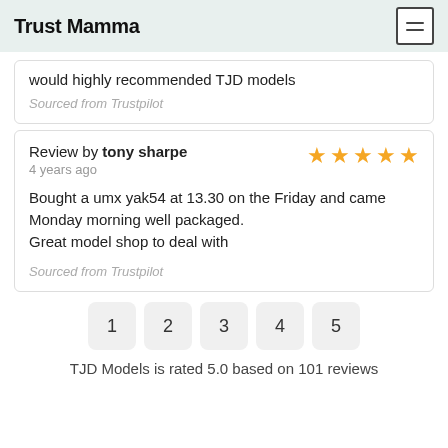Trust Mamma
would highly recommended TJD models
Sourced from Trustpilot
Review by tony sharpe
4 years ago
Bought a umx yak54 at 13.30 on the Friday and came Monday morning well packaged.
Great model shop to deal with
Sourced from Trustpilot
1  2  3  4  5
TJD Models is rated 5.0 based on 101 reviews